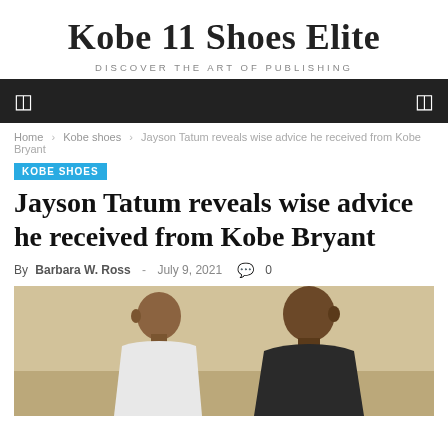Kobe 11 Shoes Elite
DISCOVER THE ART OF PUBLISHING
Home › Kobe shoes › Jayson Tatum reveals wise advice he received from Kobe Bryant
KOBE SHOES
Jayson Tatum reveals wise advice he received from Kobe Bryant
By Barbara W. Ross - July 9, 2021  0
[Figure (photo): Two basketball players facing each other in a gym-like setting — a younger player in a white shirt on the left and an older player in a dark shirt on the right, identifiable as Jayson Tatum and Kobe Bryant.]